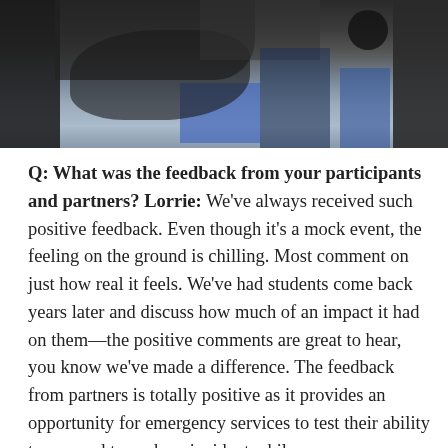[Figure (photo): A partially visible photograph showing people in dark clothing with some blue elements, likely at an outdoor event or exercise scenario.]
Q: What was the feedback from your participants and partners?  Lorrie: We've always received such positive feedback. Even though it's a mock event, the feeling on the ground is chilling. Most comment on just how real it feels. We've had students come back years later and discuss how much of an impact it had on them—the positive comments are great to hear, you know we've made a difference. The feedback from partners is totally positive as it provides an opportunity for emergency services to test their ability to respond to such an incident while